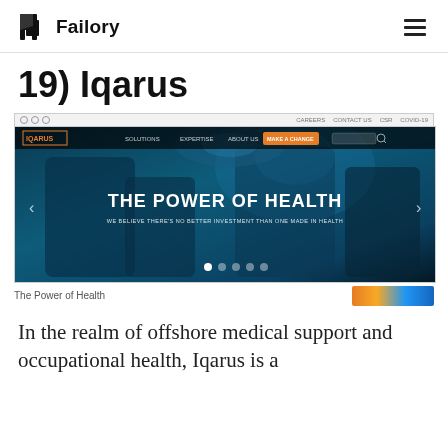Failory
19) Iqarus
[Figure (screenshot): Screenshot of the Iqarus website showing a medical/surgical team in an operating room with overlay text 'THE POWER OF HEALTH' and subtitle 'WE BELIEVE THERE'S NO BETTER INVESTMENT THAN ONE MADE IN HEALTH'. The site has a dark blue-tinted hero image with navigation bar at top including IQARUS logo, menu items, and an orange 'MAKE A CHANGE' button.]
The Power of Health
In the realm of offshore medical support and occupational health, Iqarus is a